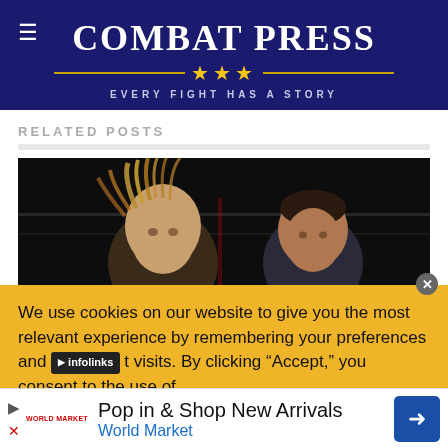[Figure (logo): Combat Press website header logo with navy blue background, title 'COMBAT PRESS', three gold stars, horizontal gold lines, and tagline 'EVERY FIGHT HAS A STORY']
RELATED POSTS
[Figure (photo): Boxing/MMA photograph showing two fighters in a ring, dark background, one fighter with dreadlocks visible on left, another fighter on right]
We use cookies on our website to give you the most relevant experience by remembering your preferences and repeat visits. By clicking “Accept,” you consent to the use of
[Figure (screenshot): infolinks advertisement badge overlay]
[Figure (screenshot): Advertisement banner: 'Pop in & Shop New Arrivals' from World Market with blue diamond arrow icon]